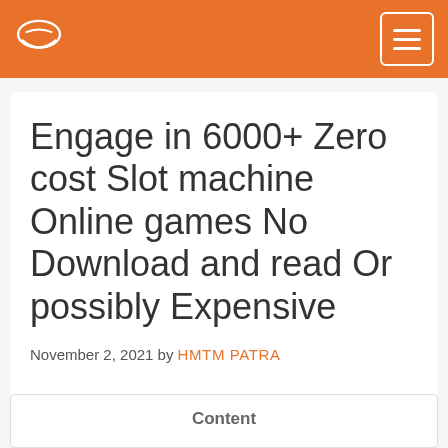HMTM PATRA [logo] [menu button]
Engage in 6000+ Zero cost Slot machine Online games No Download and read Or possibly Expensive
November 2, 2021 by HMTM PATRA
Content